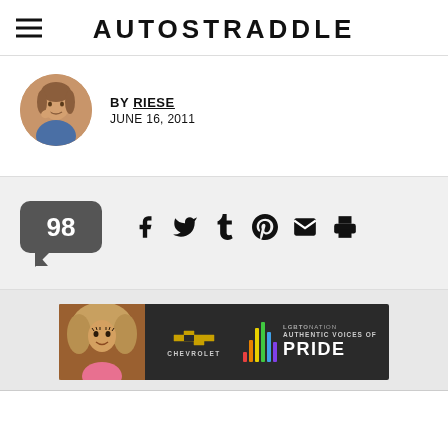AUTOSTRADDLE
BY RIESE
JUNE 16, 2011
[Figure (infographic): Comment count bubble showing 98, followed by social share icons: Facebook, Twitter, Tumblr, Pinterest, Email, Print]
[Figure (photo): Advertisement banner: LGBTQ Nation - Authentic Voices of Pride, Chevrolet. Shows a person with large hair and colorful sound wave bars.]